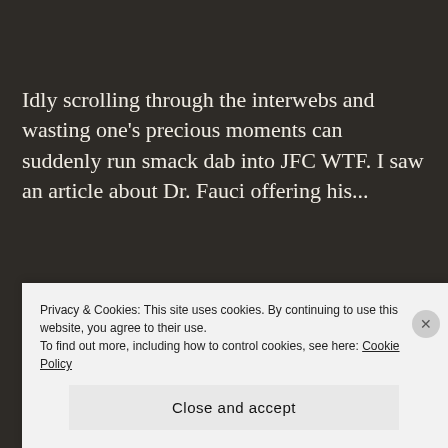Idly scrolling through the interwebs and wasting one's precious moments can suddenly run smack dab into JFC WTF. I saw an article about Dr. Fauci offering his...
READ MORE →
Privacy & Cookies: This site uses cookies. By continuing to use this website, you agree to their use.
To find out more, including how to control cookies, see here: Cookie Policy
Close and accept